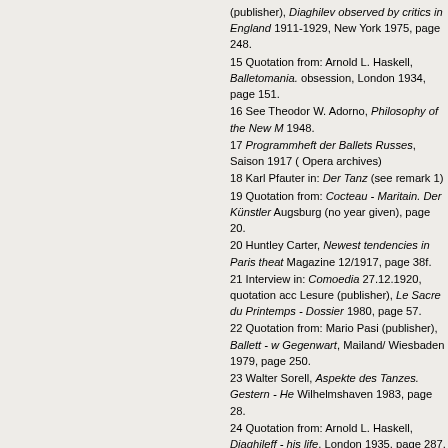(publisher), Diaghilev observed by critics in England 1911-1929, New York 1975, page 248.
15 Quotation from: Arnold L. Haskell, Balletomania. obsession, London 1934, page 151.
16 See Theodor W. Adorno, Philosophy of the New M 1948.
17 Programmheft der Ballets Russes, Saison 1917 ( Opera archives)
18 Karl Pfauter in: Der Tanz (see remark 1)
19 Quotation from: Cocteau - Maritain. Der Künstler Augsburg (no year given), page 20.
20 Huntley Carter, Newest tendencies in Paris theat Magazine 12/1917, page 38f.
21 Interview in: Comoedia 27.12.1920, quotation acc Lesure (publisher), Le Sacre du Printemps - Dossier 1980, page 57.
22 Quotation from: Mario Pasi (publisher), Ballett - w Gegenwart, Mailand/ Wiesbaden 1979, page 250.
23 Walter Sorell, Aspekte des Tanzes. Gestern - He Wilhelmshaven 1983, page 28.
24 Quotation from: Arnold L. Haskell, Diaghileff - his life, London 1935, page 287.
25 Foreword to: Serge Lido, Ballet No.7, Paris 1957.
26 Haskell 1934, page 250.
27 Sunday Times 29th October 1933, quotation from 193.
28 Report from Nervi 1960, Manuscript Collection fro Dance Archives Salzburg.
29 Interview with Marilyn Hunt dated 23rd November and manuscript of the New York Public Library/ Danc
30 Massine 1968, page105.